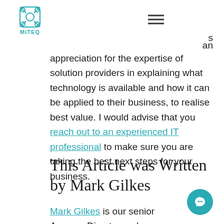MiTEQ
an appreciation for the expertise of solution providers in explaining what technology is available and how it can be applied to their business, to realise best value. I would advise that you reach out to an experienced IT professional to make sure you are taking the best next steps for your business.
This Article was Written by Mark Gilkes
Mark Gilkes is our senior Account Director and Healthcare Lead, here